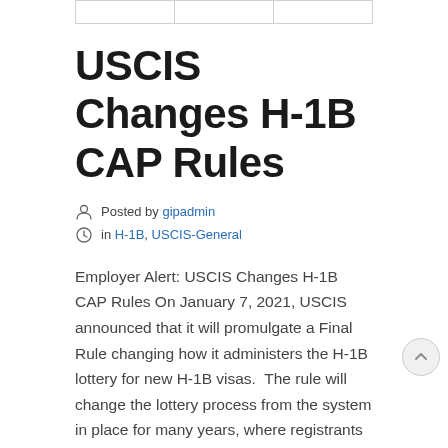[navigation tabs]
USCIS Changes H-1B CAP Rules
Posted by gipadmin in H-1B, USCIS-General
Employer Alert: USCIS Changes H-1B CAP Rules On January 7, 2021, USCIS announced that it will promulgate a Final Rule changing how it administers the H-1B lottery for new H-1B visas.  The rule will change the lottery process from the system in place for many years, where registrants are selected without regard to the merits of their cases, to one where USCIS will give preference to registrations whose